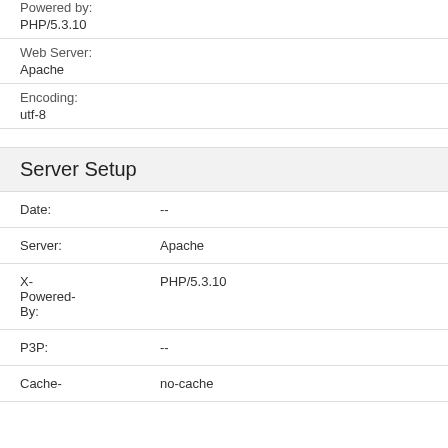Powered by:
PHP/5.3.10
Web Server:
Apache
Encoding:
utf-8
Server Setup
| Field | Value |
| --- | --- |
| Date: | -- |
| Server: | Apache |
| X-Powered-By: | PHP/5.3.10 |
| P3P: | -- |
| Cache- | no-cache |